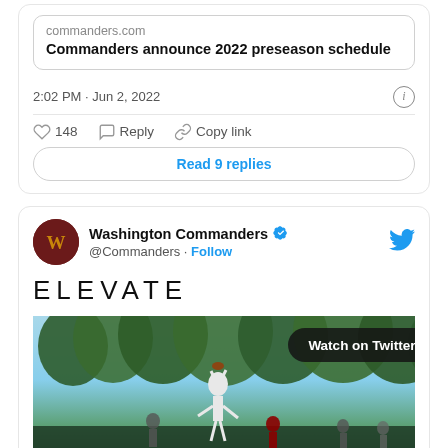[Figure (screenshot): Twitter/X tweet card showing a link to commanders.com with the title 'Commanders announce 2022 preseason schedule', timestamp '2:02 PM · Jun 2, 2022', 148 likes, Reply and Copy link actions, and a 'Read 9 replies' button]
[Figure (screenshot): Twitter/X tweet card from Washington Commanders (@Commanders) with verified badge and Follow link, text 'ELEVATE', and a 'Watch on Twitter' video thumbnail showing a football player catching a ball outdoors]